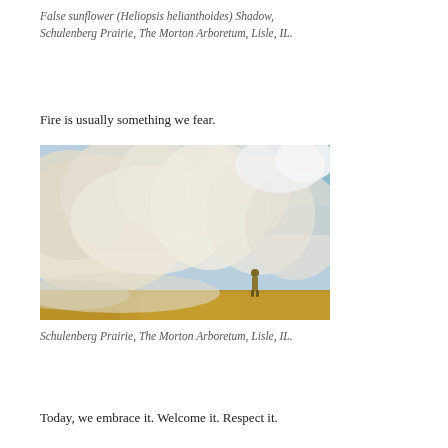False sunflower (Heliopsis helianthoides) Shadow, Schulenberg Prairie, The Morton Arboretum, Lisle, IL.
Fire is usually something we fear.
[Figure (photo): A person stands on a dry grass field with large billowing white and cream-colored smoke clouds rising behind them against a partly cloudy blue sky. Controlled prairie burn scene.]
Schulenberg Prairie, The Morton Arboretum, Lisle, IL.
Today, we embrace it. Welcome it. Respect it.